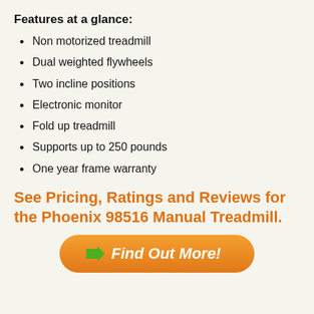Features at a glance:
Non motorized treadmill
Dual weighted flywheels
Two incline positions
Electronic monitor
Fold up treadmill
Supports up to 250 pounds
One year frame warranty
See Pricing, Ratings and Reviews for the Phoenix 98516 Manual Treadmill.
[Figure (other): Orange rounded button with green arrow and white italic text 'Find Out More!']